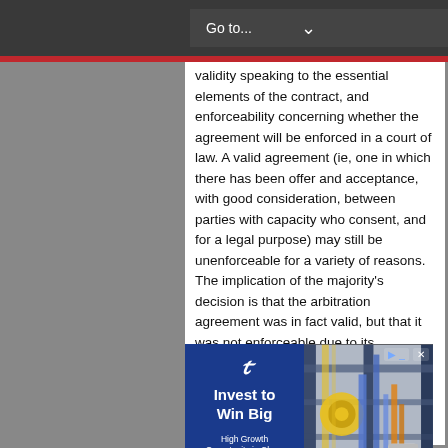Go to...
validity speaking to the essential elements of the contract, and enforceability concerning whether the agreement will be enforced in a court of law. A valid agreement (ie, one in which there has been offer and acceptance, with good consideration, between parties with capacity who consent, and for a legal purpose) may still be unenforceable for a variety of reasons. The implication of the majority's decision is that the arbitration agreement was in fact valid, but that it was not enforceable due to its unconscionability. Conversely, the doctrine of public policy is generally understood to concern the basic legality of the agreement, and thus its validity.
[Figure (other): Advertisement banner: blue left panel with stylized F logo, text 'Invest to Win Big', subtitle 'High Growth Opportunity in Clean'; right panel shows industrial/clean energy facility with yellow and blue machinery.]